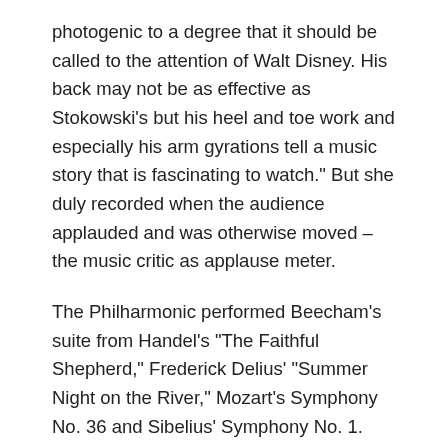photogenic to a degree that it should be called to the attention of Walt Disney. His back may not be as effective as Stokowski's but his heel and toe work and especially his arm gyrations tell a music story that is fascinating to watch." But she duly recorded when the audience applauded and was otherwise moved – the music critic as applause meter.
The Philharmonic performed Beecham's suite from Handel's "The Faithful Shepherd," Frederick Delius' "Summer Night on the River," Mozart's Symphony No. 36 and Sibelius' Symphony No. 1.
Continue reading →